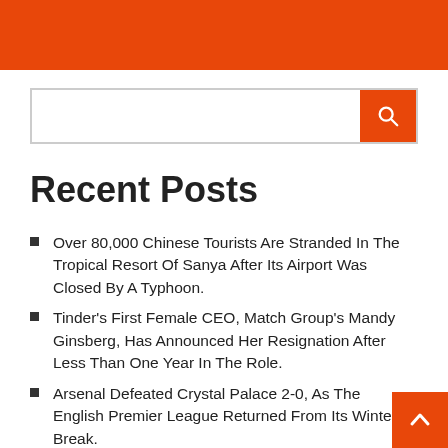[Figure (other): Orange header banner with partial logo/text visible]
[Figure (other): Search bar with orange search button containing a magnifying glass icon]
Recent Posts
Over 80,000 Chinese Tourists Are Stranded In The Tropical Resort Of Sanya After Its Airport Was Closed By A Typhoon.
Tinder's First Female CEO, Match Group's Mandy Ginsberg, Has Announced Her Resignation After Less Than One Year In The Role.
Arsenal Defeated Crystal Palace 2-0, As The English Premier League Returned From Its Winter Break.
The US Will Participate In A Military Exercise Near The Border With China.